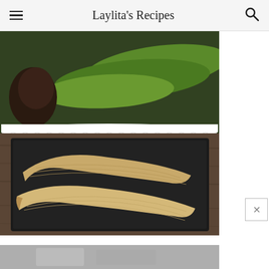Laylita's Recipes
[Figure (photo): Two peeled green plantains on a dark square plate, with whole green plantains in a white bowl in the background]
[Figure (photo): Partial view of another food photo at the bottom of the page, appears to show a cooking preparation scene]